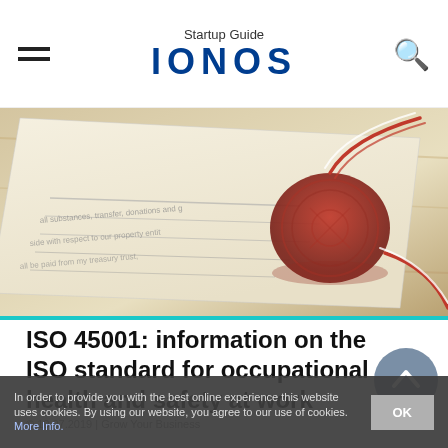Startup Guide IONOS
[Figure (photo): Close-up of a document with a red wax seal and red-and-white twisted cord/string on top of paper with printed text.]
ISO 45001: information on the ISO standard for occupational health and safety at work
In order to provide you with the best online experience this website uses cookies. By using our website, you agree to our use of cookies. More Info.
OK